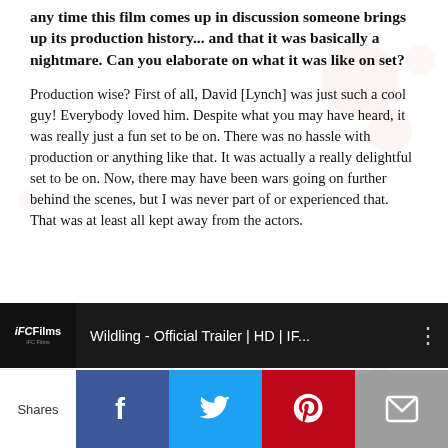any time this film comes up in discussion someone brings up its production history... and that it was basically a nightmare. Can you elaborate on what it was like on set?
Production wise? First of all, David [Lynch] was just such a cool guy! Everybody loved him. Despite what you may have heard, it was really just a fun set to be on. There was no hassle with production or anything like that. It was actually a really delightful set to be on. Now, there may have been wars going on further behind the scenes, but I was never part of or experienced that. That was at least all kept away from the actors.
[Figure (screenshot): Video thumbnail for 'Wildling - Official Trailer | HD | IF...' from IFC Films]
Shares